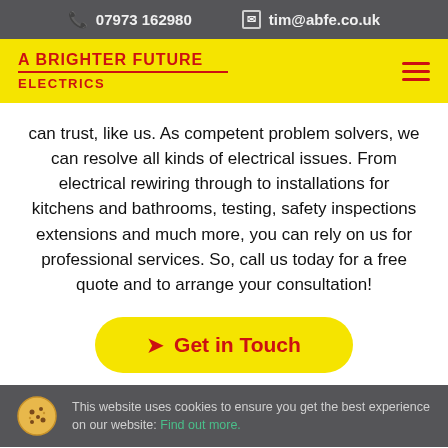07973 162980   tim@abfe.co.uk
[Figure (logo): A Brighter Future Electrics logo with red text on yellow background and hamburger menu icon]
can trust, like us. As competent problem solvers, we can resolve all kinds of electrical issues. From electrical rewiring through to installations for kitchens and bathrooms, testing, safety inspections extensions and much more, you can rely on us for professional services. So, call us today for a free quote and to arrange your consultation!
Get in Touch
This website uses cookies to ensure you get the best experience on our website: Find out more.